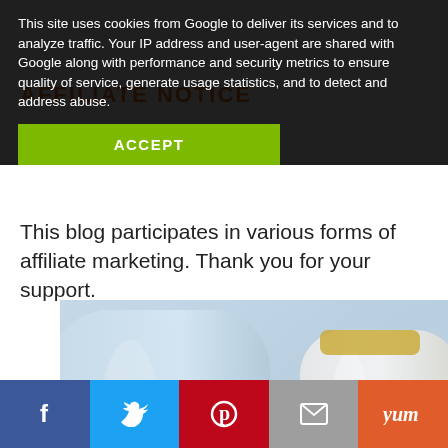This site uses cookies from Google to deliver its services and to analyze traffic. Your IP address and user-agent are shared with Google along with performance and security metrics to ensure quality of service, generate usage statistics, and to detect and address abuse.
AFFILIATE NOTICE
This blog participates in various forms of affiliate marketing. Thank you for your support.
[Figure (photo): Two bottles of vodka: Pinnacle Whipped on the left and Burnett's on the right, against a light blue background.]
Facebook | Twitter | Pinterest | Email | Yum social share buttons